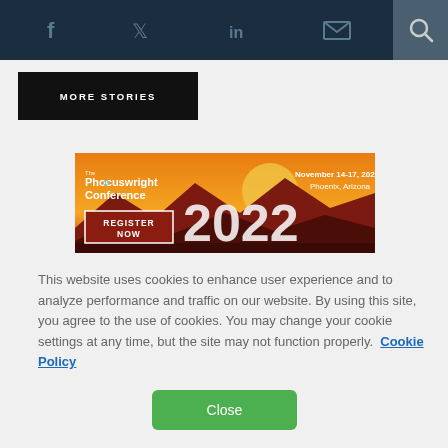Social media icons: Facebook, Twitter, LinkedIn, Email, Search
[Figure (screenshot): Black button with white uppercase text 'MORE STORIES']
[Figure (illustration): Phocuswright Conference 2022 banner ad. Orange desert sunset background with cacti and mountains. Text: 'The Phocuswright Conference', 'November 14-17, 2022', 'Phoenix, Arizona', '2022', 'REGISTER NOW']
This website uses cookies to enhance user experience and to analyze performance and traffic on our website. By using this site, you agree to the use of cookies. You may change your cookie settings at any time, but the site may not function properly.  Cookie Policy
Close